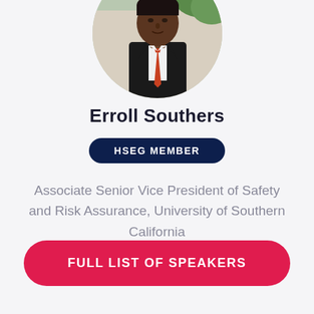[Figure (photo): Circular portrait photo of Erroll Southers wearing a dark suit and red/orange tie, outdoor background with greenery]
Erroll Southers
HSEG MEMBER
Associate Senior Vice President of Safety and Risk Assurance, University of Southern California
FULL LIST OF SPEAKERS